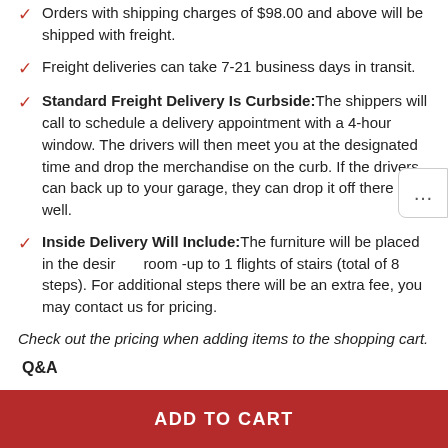Orders with shipping charges of $98.00 and above will be shipped with freight.
Freight deliveries can take 7-21 business days in transit.
Standard Freight Delivery Is Curbside: The shippers will call to schedule a delivery appointment with a 4-hour window. The drivers will then meet you at the designated time and drop the merchandise on the curb. If the drivers can back up to your garage, they can drop it off there as well.
Inside Delivery Will Include: The furniture will be placed in the desired room -up to 1 flights of stairs (total of 8 steps). For additional steps there will be an extra fee, you may contact us for pricing.
Check out the pricing when adding items to the shopping cart.
Q&A
ASK A QUESTION